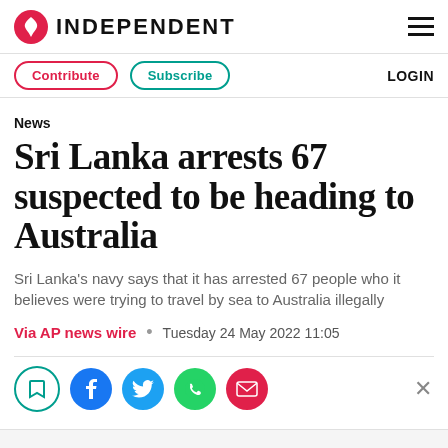INDEPENDENT
News
Sri Lanka arrests 67 suspected to be heading to Australia
Sri Lanka's navy says that it has arrested 67 people who it believes were trying to travel by sea to Australia illegally
Via AP news wire • Tuesday 24 May 2022 11:05